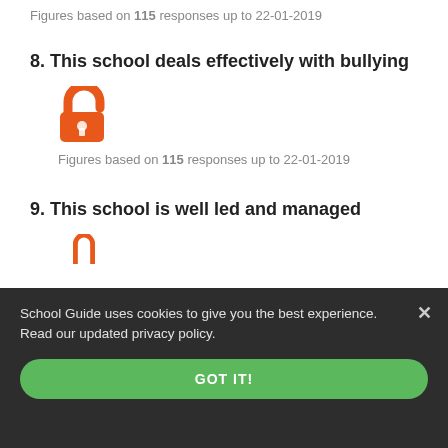Figures based on 115 responses up to 22-01-2019
8. This school deals effectively with bullying
[Figure (illustration): Orange open padlock icon indicating unlocked/available data]
Figures based on 115 responses up to 22-01-2019
9. This school is well led and managed
[Figure (illustration): Orange padlock icon (partially visible at bottom)]
School Guide uses cookies to give you the best experience. Read our updated privacy policy.
GOT IT!